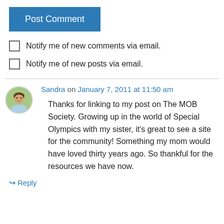Post Comment
Notify me of new comments via email.
Notify me of new posts via email.
Sandra on January 7, 2011 at 11:50 am
Thanks for linking to my post on The MOB Society. Growing up in the world of Special Olympics with my sister, it's great to see a site for the community! Something my mom would have loved thirty years ago. So thankful for the resources we have now.
↳ Reply